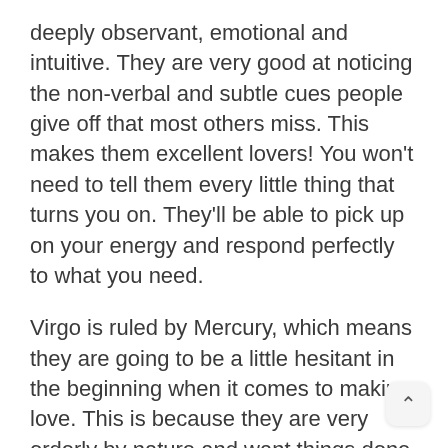deeply observant, emotional and intuitive. They are very good at noticing the non-verbal and subtle cues people give off that most others miss. This makes them excellent lovers! You won't need to tell them every little thing that turns you on. They'll be able to pick up on your energy and respond perfectly to what you need.
Virgo is ruled by Mercury, which means they are going to be a little hesitant in the beginning when it comes to making love. This is because they are very orderly by nature and want things done a specific way in every aspect of their lives.
You're going to have to work on this, Virgos! Don't get too caught up in your routines and ways of thinking. If you can be a little bit more flexible and a little bit more free flow in the